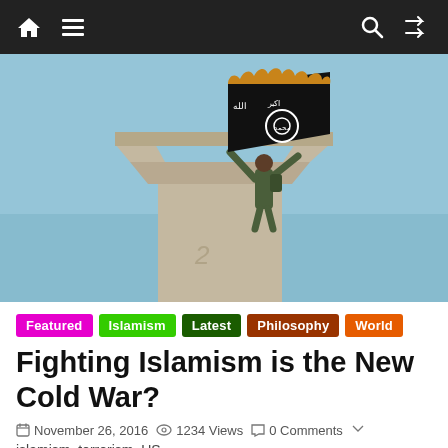Navigation bar with home, menu, search, and shuffle icons
[Figure (photo): A soldier in camouflage uniform standing on top of a concrete monument or tower, holding up a large black flag with Arabic writing (ISIS/ISIL flag), against a blue sky background.]
Featured
Islamism
Latest
Philosophy
World
Fighting Islamism is the New Cold War?
November 26, 2016   1234 Views   0 Comments
islamism, terrorism, US